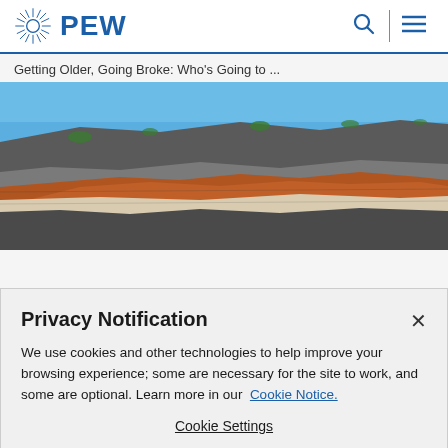PEW
Getting Older, Going Broke: Who's Going to ...
[Figure (photo): Rocky cliff face with orange and grey layered rock formations against a blue sky]
Privacy Notification
We use cookies and other technologies to help improve your browsing experience; some are necessary for the site to work, and some are optional. Learn more in our Cookie Notice.
Cookie Settings